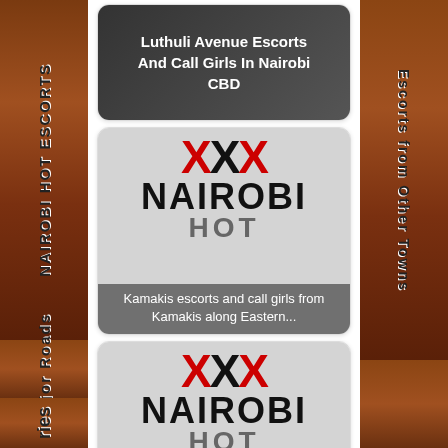[Figure (screenshot): Nairobi escorts website screenshot with sidebar navigation labels and escort listing cards]
NAIROBI HOT ESCORTS
Escorts from Other Towns
Major Roads
ries
Luthuli Avenue Escorts And Call Girls In Nairobi CBD
Kamakis escorts and call girls from Kamakis along Eastern...
Huruma Escorts and call girls from Huruma Outering road
Find hot girls on nairobihot.com